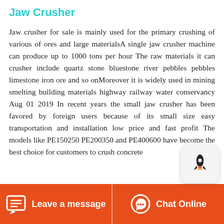Jaw Crusher
Jaw crusher for sale is mainly used for the primary crushing of various of ores and large materialsA single jaw crusher machine can produce up to 1000 tons per hour The raw materials it can crusher include quartz stone bluestone river pebbles pebbles limestone iron ore and so onMoreover it is widely used in mining smelting building materials highway railway water conservancy Aug 01 2019 In recent years the small jaw crusher has been favored by foreign users because of its small size easy transportation and installation low price and fast profit The models like PE150250 PE200350 and PE400600 have become the best choice for customers to crush concrete
[Figure (other): Rocket icon popup bubble in the lower right of the text area]
Leave a message   Chat Online